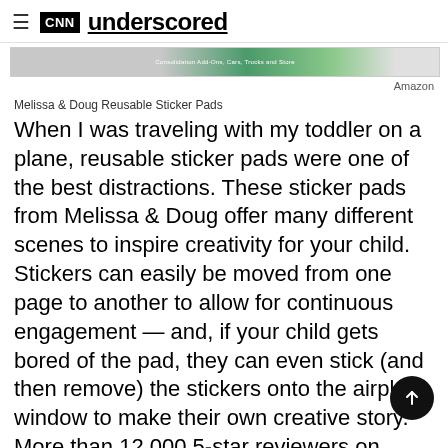CNN underscored
[Figure (screenshot): Ad banner with green and gray gradient background showing small text]
Amazon
Melissa & Doug Reusable Sticker Pads
When I was traveling with my toddler on a plane, reusable sticker pads were one of the best distractions. These sticker pads from Melissa & Doug offer many different scenes to inspire creativity for your child. Stickers can easily be moved from one page to another to allow for continuous engagement — and, if your child gets bored of the pad, they can even stick (and then remove) the stickers onto the airplane window to make their own creative story. More than 12,000 5-star reviewers on Amazon agree that this sticker pad is a great activity to keep kids entertained.